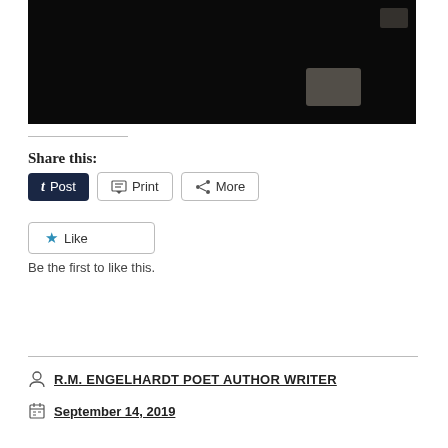[Figure (photo): Dark/black photograph, partially visible at top of page with slight highlight detail in lower right area]
Share this:
t Post | Print | More
Like
Be the first to like this.
R.M. ENGELHARDT POET AUTHOR WRITER
September 14, 2019